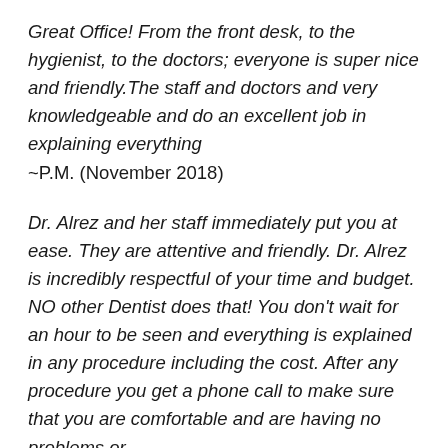Great Office! From the front desk, to the hygienist, to the doctors; everyone is super nice and friendly.The staff and doctors and very knowledgeable and do an excellent job in explaining everything
~P.M. (November 2018)
Dr. Alrez and her staff immediately put you at ease. They are attentive and friendly. Dr. Alrez is incredibly respectful of your time and budget. NO other Dentist does that! You don't wait for an hour to be seen and everything is explained in any procedure including the cost. After any procedure you get a phone call to make sure that you are comfortable and are having no problems or